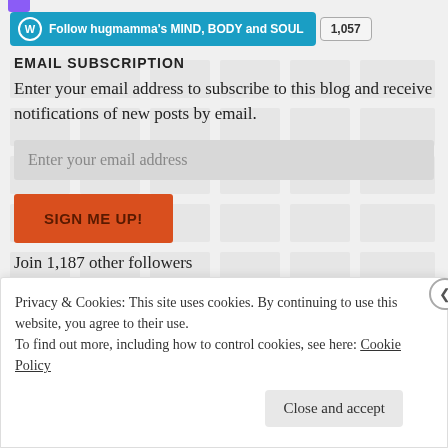[Figure (other): Partial purple icon/logo at top of page]
Follow hugmamma's MIND, BODY and SOUL  1,057
EMAIL SUBSCRIPTION
Enter your email address to subscribe to this blog and receive notifications of new posts by email.
Enter your email address
SIGN ME UP!
Join 1,187 other followers
Privacy & Cookies: This site uses cookies. By continuing to use this website, you agree to their use.
To find out more, including how to control cookies, see here: Cookie Policy
Close and accept